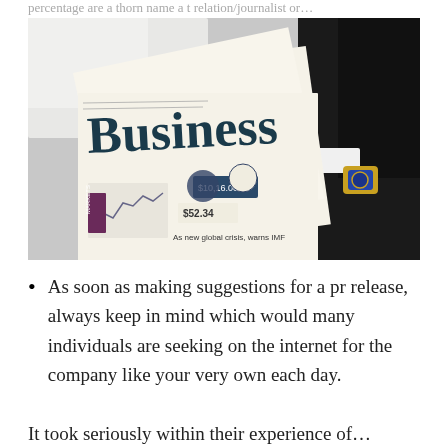percentage are a thorn name a t relation/journalist or…
[Figure (photo): A person in a dark suit holding a Business newspaper, showing financial charts, prices like $10,16.00 and $52.34, and a headline about global crisis warning from IMF. The person is wearing a gold watch.]
As soon as making suggestions for a pr release, always keep in mind which would many individuals are seeking on the internet for the company like your very own each day. It took seriously within their experience of…